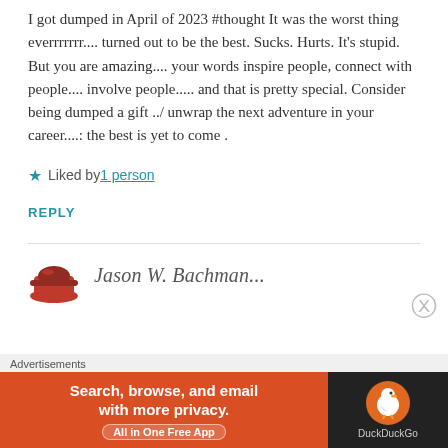I got dumped in April of 2023 #thought It was the worst thing everrrrrrr.... turned out to be the best. Sucks. Hurts. It's stupid. But you are amazing.... your words inspire people, connect with people.... involve people..... and that is pretty special. Consider being dumped a gift ../ unwrap the next adventure in your career....: the best is yet to come .
Liked by 1 person
REPLY
[Figure (illustration): Red avatar/logo for next commenter]
Jason W. Bachman...
[Figure (screenshot): DuckDuckGo advertisement banner: Search, browse, and email with more privacy. All in One Free App.]